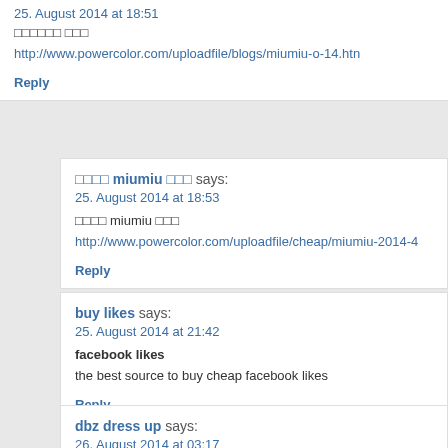25. August 2014 at 18:51
□□□□□□ □□□
http://www.powercolor.com/uploadfile/blogs/miumiu-o-14.htm
Reply
□□□□ miumiu □□□ says:
25. August 2014 at 18:53
□□□□ miumiu □□□
http://www.powercolor.com/uploadfile/cheap/miumiu-2014-4
Reply
buy likes says:
25. August 2014 at 21:42
facebook likes
the best source to buy cheap facebook likes
Reply
dbz dress up says:
26. August 2014 at 03:17
nascar